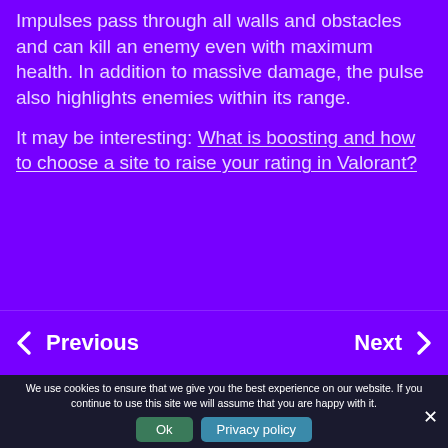Impulses pass through all walls and obstacles and can kill an enemy even with maximum health. In addition to massive damage, the pulse also highlights enemies within its range.
It may be interesting: What is boosting and how to choose a site to raise your rating in Valorant?
Previous | Next
We use cookies to ensure that we give you the best experience on our website. If you continue to use this site we will assume that you are happy with it.